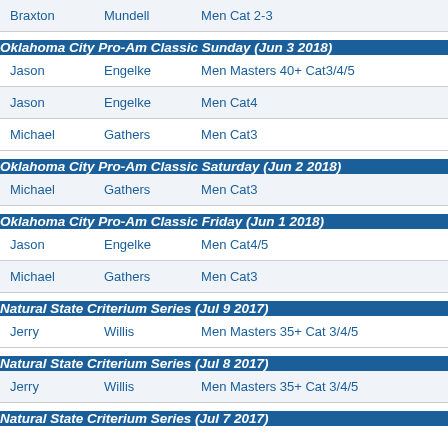| First | Last | Category |
| --- | --- | --- |
| Braxton | Mundell | Men Cat 2-3 |
Oklahoma City Pro-Am Classic Sunday (Jun 3 2018)
| First | Last | Category |
| --- | --- | --- |
| Jason | Engelke | Men Masters 40+ Cat3/4/5 |
| Jason | Engelke | Men Cat4 |
| Michael | Gathers | Men Cat3 |
Oklahoma City Pro-Am Classic Saturday (Jun 2 2018)
| First | Last | Category |
| --- | --- | --- |
| Michael | Gathers | Men Cat3 |
Oklahoma City Pro-Am Classic Friday (Jun 1 2018)
| First | Last | Category |
| --- | --- | --- |
| Jason | Engelke | Men Cat4/5 |
| Michael | Gathers | Men Cat3 |
Natural State Criterium Series (Jul 9 2017)
| First | Last | Category |
| --- | --- | --- |
| Jerry | Willis | Men Masters 35+ Cat 3/4/5 |
Natural State Criterium Series (Jul 8 2017)
| First | Last | Category |
| --- | --- | --- |
| Jerry | Willis | Men Masters 35+ Cat 3/4/5 |
Natural State Criterium Series (Jul 7 2017)